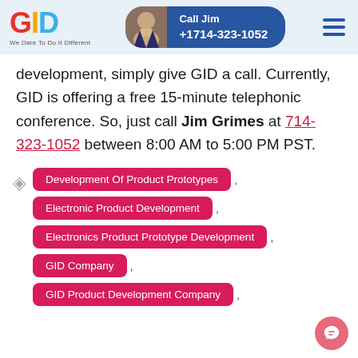GID - We Dare To Do It Different | Call Jim +1714-323-1052
development, simply give GID a call. Currently, GID is offering a free 15-minute telephonic conference. So, just call Jim Grimes at 714-323-1052 between 8:00 AM to 5:00 PM PST.
Development Of Product Prototypes
Electronic Product Development
Electronics Product Prototype Development
GID Company
GID Product Development Company